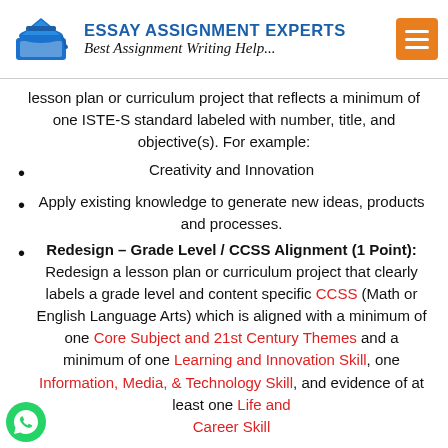ESSAY ASSIGNMENT EXPERTS
Best Assignment Writing Help...
lesson plan or curriculum project that reflects a minimum of one ISTE-S standard labeled with number, title, and objective(s). For example:
Creativity and Innovation
Apply existing knowledge to generate new ideas, products and processes.
Redesign – Grade Level / CCSS Alignment (1 Point): Redesign a lesson plan or curriculum project that clearly labels a grade level and content specific CCSS (Math or English Language Arts) which is aligned with a minimum of one Core Subject and 21st Century Themes and a minimum of one Learning and Innovation Skill, one Information, Media, & Technology Skill, and evidence of at least one Life and Career Skill.